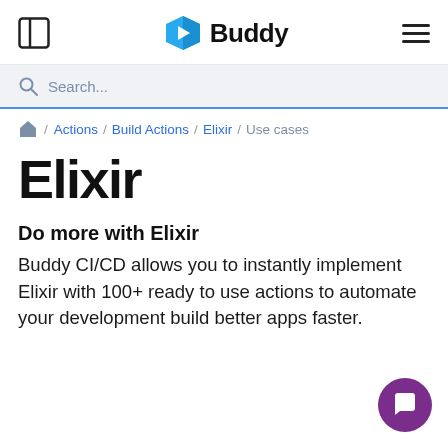Buddy
Search...
/ Actions / Build Actions / Elixir / Use cases
Elixir
Do more with Elixir
Buddy CI/CD allows you to instantly implement Elixir with 100+ ready to use actions to automate your development build better apps faster.